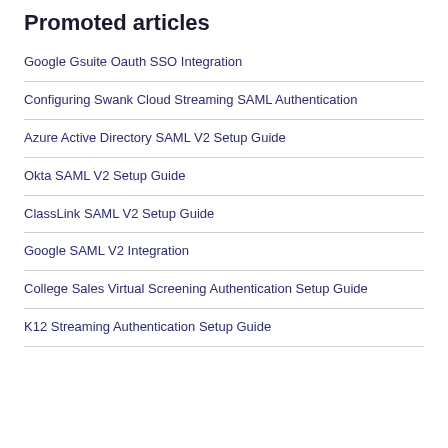Promoted articles
Google Gsuite Oauth SSO Integration
Configuring Swank Cloud Streaming SAML Authentication
Azure Active Directory SAML V2 Setup Guide
Okta SAML V2 Setup Guide
ClassLink SAML V2 Setup Guide
Google SAML V2 Integration
College Sales Virtual Screening Authentication Setup Guide
K12 Streaming Authentication Setup Guide